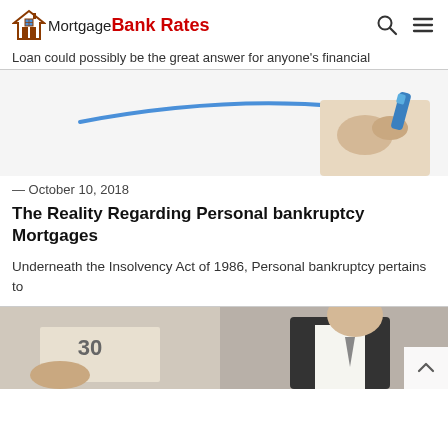Mortgage Bank Rates
Loan could possibly be the great answer for anyone's financial
[Figure (photo): Hand holding a blue marker pen drawing an underline/checkmark arc]
— October 10, 2018
The Reality Regarding Personal bankruptcy Mortgages
Underneath the Insolvency Act of 1986, Personal bankruptcy pertains to
[Figure (photo): Partial image of a businessman in suit and a financial document with number 30 visible]